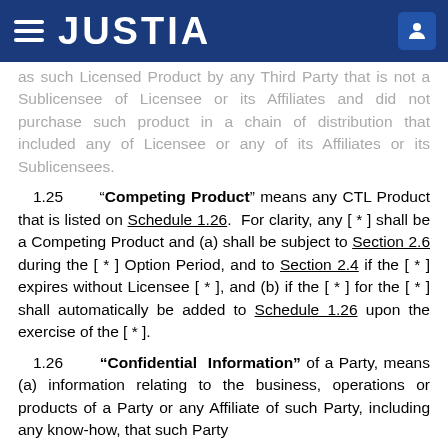JUSTIA
as such Licensed Product by any Third Party that is not a Sublicensee of Licensee or its Affiliates and did not purchase such product in a chain of distribution that included any of Licensee or any of its Affiliates or its Sublicensees.
1.25 "Competing Product" means any CTL Product that is listed on Schedule 1.26. For clarity, any [ * ] shall be a Competing Product and (a) shall be subject to Section 2.6 during the [ * ] Option Period, and to Section 2.4 if the [ * ] expires without Licensee [ * ], and (b) if the [ * ] for the [ * ] shall automatically be added to Schedule 1.26 upon the exercise of the [ * ].
1.26 "Confidential Information" of a Party, means (a) information relating to the business, operations or products of a Party or any Affiliate of such Party, including any know-how, that such Party